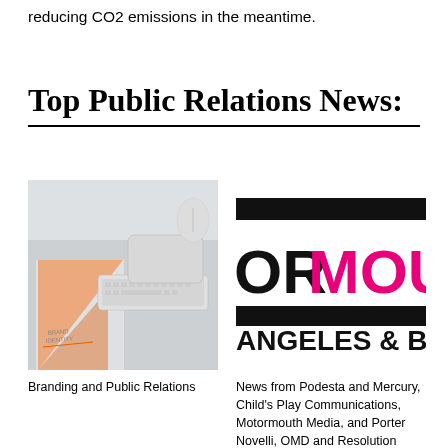reducing CO2 emissions in the meantime.
Top Public Relations News:
[Figure (photo): Branding materials on a desk: orange triangle branding card, Apple keyboard, trackpad and mouse on a white surface. Text on card reads 'BRAND IDENTITY'.]
Branding and Public Relations
[Figure (logo): Partial logo showing 'ORMOUTH' in large black and magenta/pink letters, with two thick black horizontal bars above and below, and text 'ANGELES & BR' below the bars. Appears to be a cropped version of a media brand logo.]
News from Podesta and Mercury, Child's Play Communications, Motormouth Media, and Porter Novelli, OMD and Resolution Media